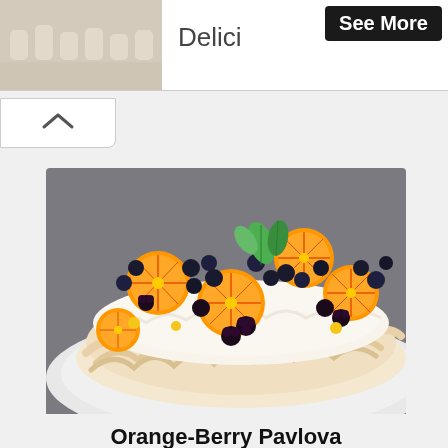[Figure (photo): Top banner with small dessert cups photo on the left, text 'Delici' in the center, and a dark 'See More' button on the right]
[Figure (photo): A Pavlova cake topped with orange slices, blueberries, blackberries, and mint leaves on a white cake stand]
Orange-Berry Pavlova